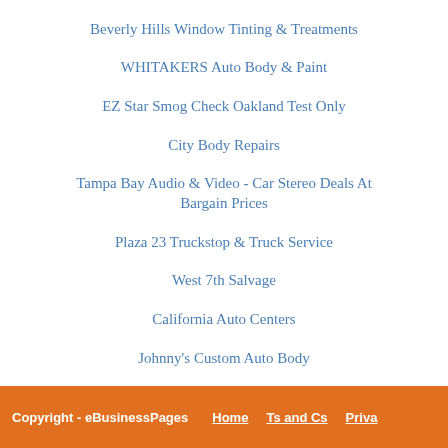Beverly Hills Window Tinting & Treatments
WHITAKERS Auto Body & Paint
EZ Star Smog Check Oakland Test Only
City Body Repairs
Tampa Bay Audio & Video - Car Stereo Deals At Bargain Prices
Plaza 23 Truckstop & Truck Service
West 7th Salvage
California Auto Centers
Johnny's Custom Auto Body
Copyright - eBusinessPages   Home   Ts and Cs   Priva...